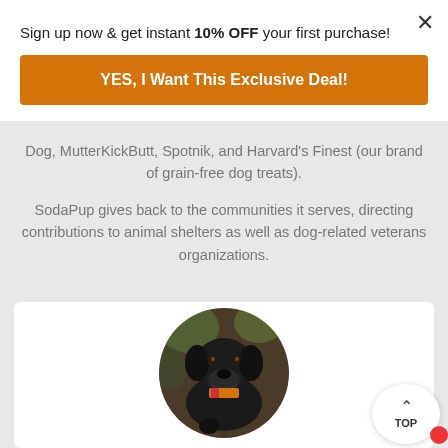Sign up now & get instant 10% OFF your first purchase!
YES, I Want This Exclusive Deal!
Dog, MutterKickButt, Spotnik, and Harvard's Finest (our brand of grain-free dog treats).
SodaPup gives back to the communities it serves, directing contributions to animal shelters as well as dog-related veterans organizations.
[Figure (photo): A black Labrador dog with a colorful treat in its mouth, shown in a circular crop, inside a white card area.]